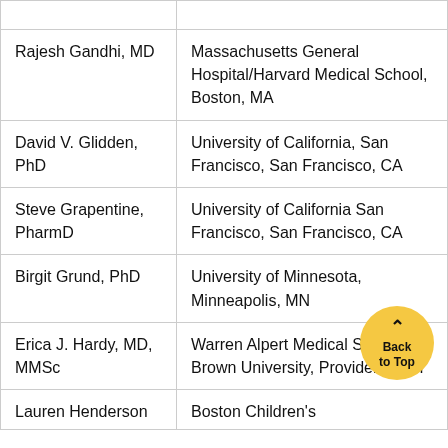| Name | Institution |
| --- | --- |
| Rajesh Gandhi, MD | Massachusetts General Hospital/Harvard Medical School, Boston, MA |
| David V. Glidden, PhD | University of California, San Francisco, San Francisco, CA |
| Steve Grapentine, PharmD | University of California San Francisco, San Francisco, CA |
| Birgit Grund, PhD | University of Minnesota, Minneapolis, MN |
| Erica J. Hardy, MD, MMSc | Warren Alpert Medical School of Brown University, Providence, RI |
| Lauren Henderson | Boston Children's |